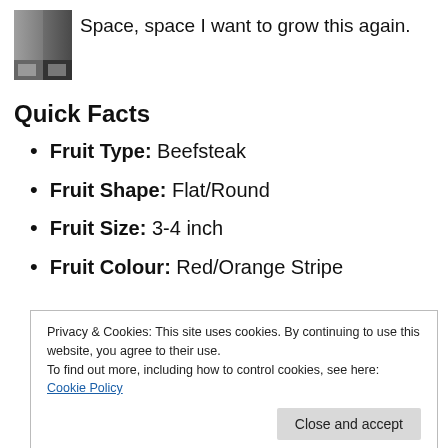[Figure (photo): Small thumbnail image showing dark/grayscale squares, partially visible]
Space, space I want to grow this again.
Quick Facts
Fruit Type: Beefsteak
Fruit Shape: Flat/Round
Fruit Size: 3-4 inch
Fruit Colour: Red/Orange Stripe
Privacy & Cookies: This site uses cookies. By continuing to use this website, you agree to their use.
To find out more, including how to control cookies, see here: Cookie Policy
Close and accept
Ripe Days: Early/Mid (65-75 Days)